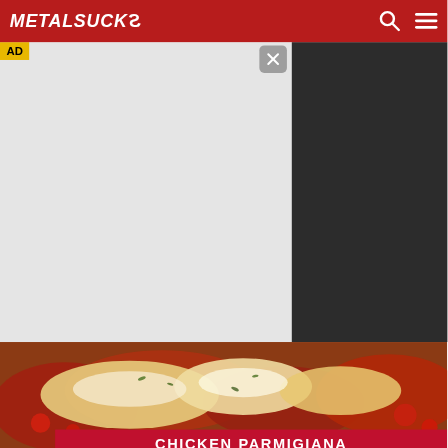METALSUCKS
[Figure (screenshot): AD badge with close button over a gray advertisement placeholder area. Dark panel on the right side of screen.]
[Figure (photo): Close-up photo of Chicken Parmigiana dish with melted cheese and tomato sauce, with red banner overlay reading CHICKEN PARMIGIANA]
The Best Italian Food
Buca di Beppo Italian Restaurant
Gaithersburg 11AM–11PM
[Figure (infographic): Bottom ad banner showing infinity loop icon with checkmark and text 'In-store shopping' and a blue diamond navigation icon]